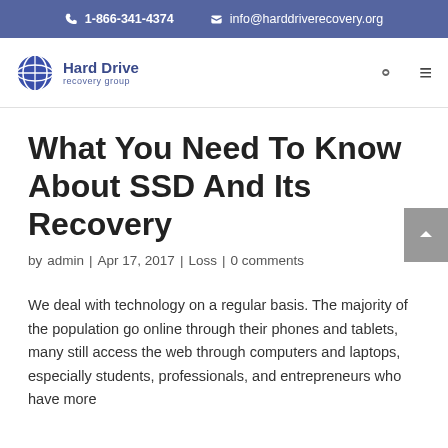1-866-341-4374  info@harddriverecovery.org
[Figure (logo): Hard Drive Recovery Group logo with blue globe icon]
What You Need To Know About SSD And Its Recovery
by admin | Apr 17, 2017 | Loss | 0 comments
We deal with technology on a regular basis. The majority of the population go online through their phones and tablets, many still access the web through computers and laptops, especially students, professionals, and entrepreneurs who have more